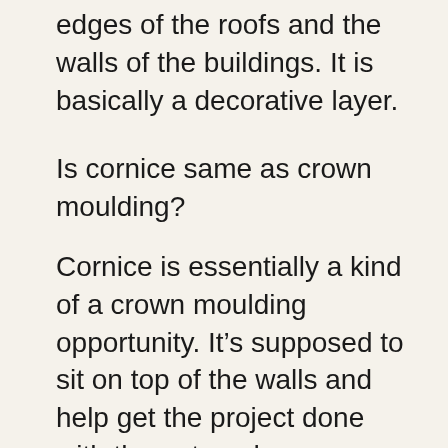edges of the roofs and the walls of the buildings. It is basically a decorative layer.
Is cornice same as crown moulding?
Cornice is essentially a kind of a crown moulding opportunity. It’s supposed to sit on top of the walls and help get the project done with the outward instructions. The edges are the roof lines and needs most of the attention and concentration. However. You can hire